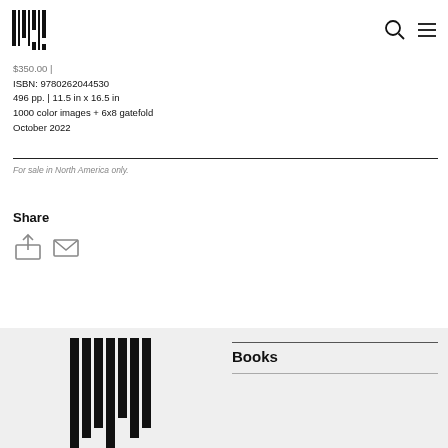[MIT Press logo] [search icon] [menu icon]
$350.00 |
ISBN: 9780262044530
496 pp. | 11.5 in x 16.5 in
1000 color images + 6x8 gatefold
October 2022
For sale in North America only.
Share
[Figure (other): Share icons: upload/export icon and email envelope icon]
[Figure (logo): MIT Press logo partial at bottom left]
Books